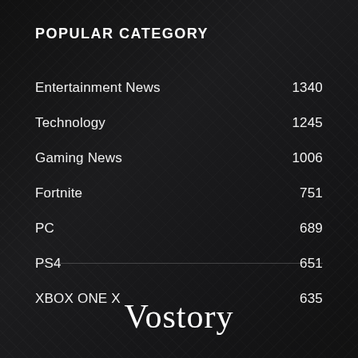POPULAR CATEGORY
Entertainment News  1340
Technology  1245
Gaming News  1006
Fortnite  751
PC  689
PS4  651
XBOX ONE X  635
Vostory